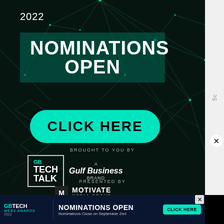[Figure (infographic): 2022 Nominations Open advertisement for GB Tech Talk awards, dark background with teal network/tech lines pattern, featuring 'NOMINATIONS OPEN' headline, 'CLICK HERE' button, GB Tech Talk logo, Gulf Business brand, Motivate Media Group logo]
2022
NOMINATIONS OPEN
CLICK HERE
BROUGHT TO YOU BY
GB TECH TALK
A Gulf Business BRAND
PRESENTED BY
MOTIVATE MEDIA GROUP
GBTECH WEB3 AWARDS 2022 NOMINATIONS OPEN Nominations Close on September 2nd CLICK HERE